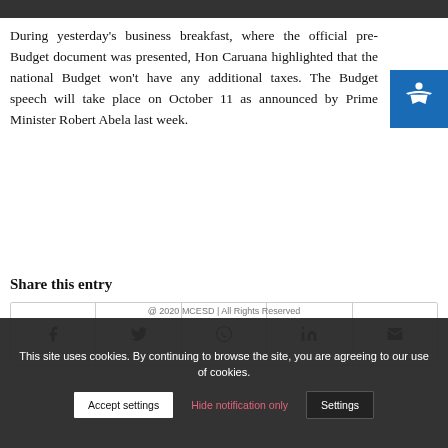[Figure (photo): Top image bar showing partial photo of a person]
During yesterday's business breakfast, where the official pre-Budget document was presented, Hon Caruana highlighted that the national Budget won't have any additional taxes. The Budget speech will take place on October 11 as announced by Prime Minister Robert Abela last week.
Share this entry
[Figure (infographic): Social share buttons row: Facebook, Twitter, WhatsApp, LinkedIn, Email]
This site uses cookies. By continuing to browse the site, you are agreeing to our use of cookies.
Accept settings | Hide notification only | Settings
@ 2020 MCESD | All Rights Reserved